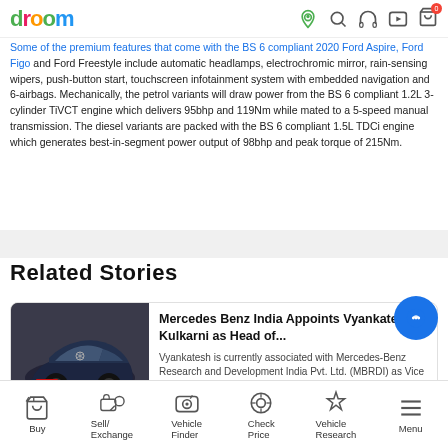droom
Some of the premium features that come with the BS 6 compliant 2020 Ford Aspire, Ford Figo and Ford Freestyle include automatic headlamps, electrochromic mirror, rain-sensing wipers, push-button start, touchscreen infotainment system with embedded navigation and 6-airbags. Mechanically, the petrol variants will draw power from the BS 6 compliant 1.2L 3-cylinder TiVCT engine which delivers 95bhp and 119Nm while mated to a 5-speed manual transmission. The diesel variants are packed with the BS 6 compliant 1.5L TDCi engine which generates best-in-segment power output of 98bhp and peak torque of 215Nm.
Related Stories
[Figure (photo): Mercedes Benz dark blue car photo used as thumbnail for related story card]
Mercedes Benz India Appoints Vyankatesh Kulkarni as Head of... Vyankatesh is currently associated with Mercedes-Benz Research and Development India Pvt. Ltd. (MBRDI) as Vice President ... Published On: 30/05/22  109 Views  2 min read